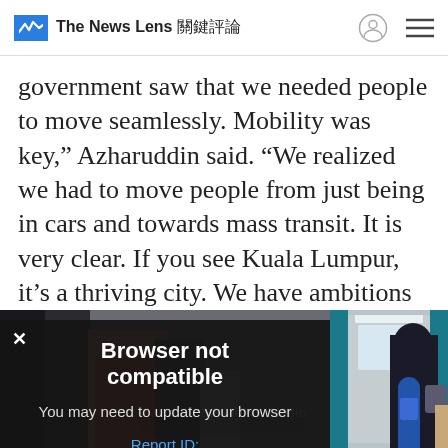The News Lens 關鍵評論
government saw that we needed people to move seamlessly. Mobility was key,” Azharuddin said. “We realized we had to move people from just being in cars and towards mass transit. It is very clear. If you see Kuala Lumpur, it’s a thriving city. We have ambitions to be a global city. A top 20 city. You need to have not just cars but also a great public
Browser not compatible
You may need to update your browser
Report ID: 1gb63889e7odsp71no5
[Figure (photo): People standing inside a metro/subway train car, with teal-colored doors visible on the right side. A woman in a dark hijab with a child is boarding. Other passengers visible inside.]